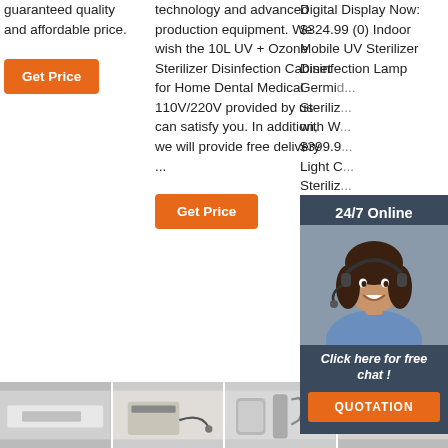guaranteed quality and affordable price.
Get Price
technology and advanced production equipment. We wish the 10L UV + Ozone Sterilizer Disinfection Cabinet for Home Dental Medical 110V/220V provided by us can satisfy you. In addition, we will provide free delivery ...
Get Price
Digital Display Now: $324.99 (0) Indoor Mobile UV Sterilizer Disinfection Lamp Germic... Steriliz... with W... $399.9... Light C... Steriliz...
Get...
[Figure (infographic): 24/7 Online chat overlay with female customer service agent wearing headset, dark blue background, 'Click here for free chat!' text, and orange QUOTATION button]
[Figure (illustration): TOP logo with orange dots forming an arch above the letters TOP in orange]
[Figure (photo): Bottom row of three product photos: medical/dental equipment items]
Get Price